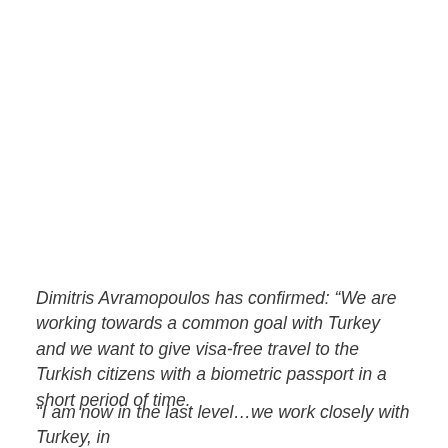Dimitris Avramopoulos has confirmed: “We are working towards a common goal with Turkey and we want to give visa-free travel to the Turkish citizens with a biometric passport in a short period of time.
“I am now in the last level…we work closely with Turkey, in